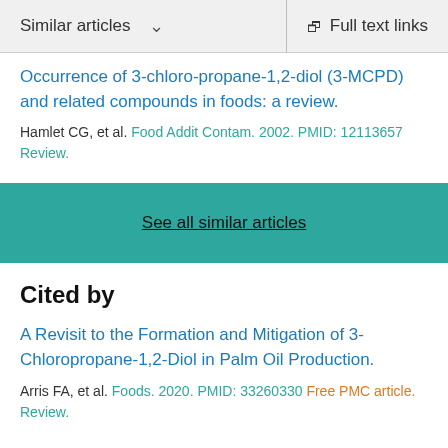Similar articles   Full text links
Occurrence of 3-chloro-propane-1,2-diol (3-MCPD) and related compounds in foods: a review.
Hamlet CG, et al. Food Addit Contam. 2002. PMID: 12113657
Review.
See all similar articles
Cited by
A Revisit to the Formation and Mitigation of 3-Chloropropane-1,2-Diol in Palm Oil Production.
Arris FA, et al. Foods. 2020. PMID: 33260330 Free PMC article.
Review.